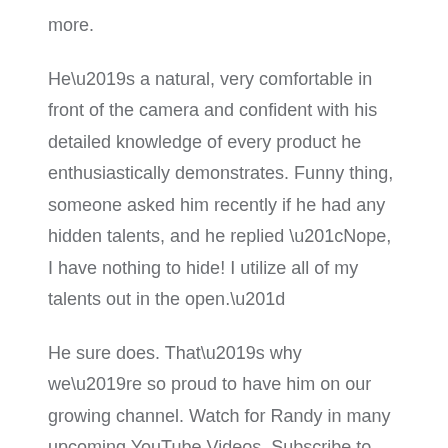more.
He’s a natural, very comfortable in front of the camera and confident with his detailed knowledge of every product he enthusiastically demonstrates. Funny thing, someone asked him recently if he had any hidden talents, and he replied “Nope, I have nothing to hide! I utilize all of my talents out in the open.”
He sure does. That’s why we’re so proud to have him on our growing channel. Watch for Randy in many upcoming YouTube Videos. Subscribe to our YouTube channel here.